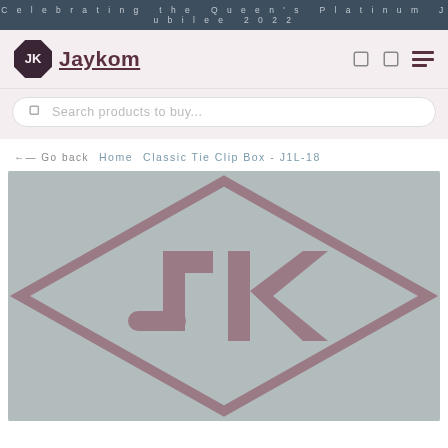Celebrating the Queen's Platinum Jubilee 2022
[Figure (logo): Jaykom logo: diamond-shaped icon with JK initials and the text Jaykom]
Search products to buy...
← Go back   Home   Classic Tie Clip Box - J1L-18
[Figure (illustration): Large Jaykom logo watermark on grey background — a diamond outline with JK monogram inside]